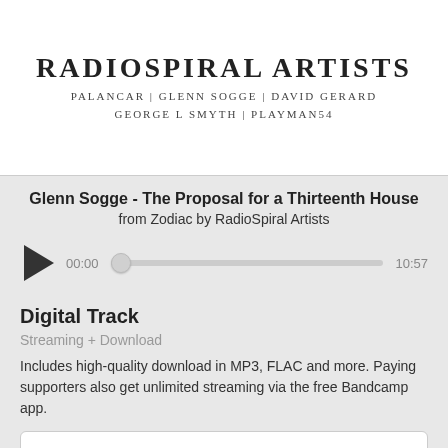[Figure (illustration): Album art for RadioSpiral Artists - Zodiac. White background with bold serif text 'RADIOSPIRAL ARTISTS' and subtitle 'PALANCAR | GLENN SOGGE | DAVID GERARD / GEORGE L SMYTH | PLAYMAN54']
Glenn Sogge - The Proposal for a Thirteenth House
from Zodiac by RadioSpiral Artists
[Figure (other): Audio player with play button, progress bar at 00:00, total duration 10:57]
Digital Track
Streaming + Download
Includes high-quality download in MP3, FLAC and more. Paying supporters also get unlimited streaming via the free Bandcamp app.
Buy Digital Track  name your price
Send as Gift